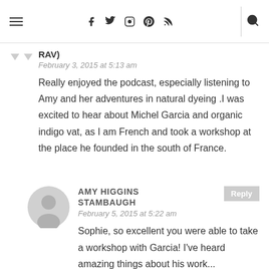Navigation bar with menu, social icons (Facebook, Twitter, Instagram, Pinterest, RSS), and search
RAV)
February 3, 2015 at 5:13 am
Really enjoyed the podcast, especially listening to Amy and her adventures in natural dyeing .I was excited to hear about Michel Garcia and organic indigo vat, as I am French and took a workshop at the place he founded in the south of France.
AMY HIGGINS STAMBAUGH
February 5, 2015 at 5:22 am
Sophie, so excellent you were able to take a workshop with Garcia! I've heard amazing things about his work...